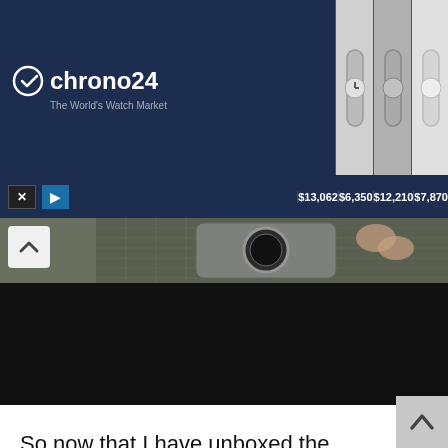[Figure (screenshot): Chrono24 advertisement banner showing logo and four watch listings with prices $13,062, $6,350, $12,210, $7,870]
[Figure (screenshot): Video player area showing a partial view of a watch on a cutting mat, with a chevron-up button visible, and a black area below]
So now that I have unboxed the phone it’s time to get on with the job of testing this piece of fine tech for you, our dear reader. This is a task that will not be undertaken by me alone as I have got a fellow Coolsmartphoner along for the ride in the form of Matteo our Chief Pixel Density Enthusiast, he is currently out in the sunny climes of the USA and will be returning to our soggier shores soon armed with a truckload